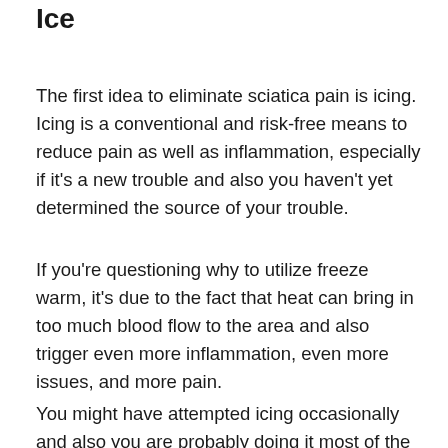Ice
The first idea to eliminate sciatica pain is icing. Icing is a conventional and risk-free means to reduce pain as well as inflammation, especially if it’s a new trouble and also you haven’t yet determined the source of your trouble.
If you’re questioning why to utilize freeze warm, it’s due to the fact that heat can bring in too much blood flow to the area and also trigger even more inflammation, even more issues, and more pain.
You might have attempted icing occasionally and also you are probably doing it most of the time